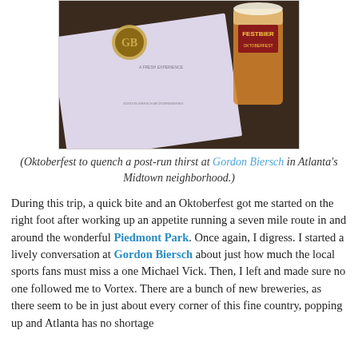[Figure (photo): Photo of a Gordon Biersch menu and a glass of Festbier/Oktoberfest beer on a dark table surface]
(Oktoberfest to quench a post-run thirst at Gordon Biersch in Atlanta's Midtown neighborhood.)
During this trip, a quick bite and an Oktoberfest got me started on the right foot after working up an appetite running a seven mile route in and around the wonderful Piedmont Park. Once again, I digress. I started a lively conversation at Gordon Biersch about just how much the local sports fans must miss a one Michael Vick. Then, I left and made sure no one followed me to Vortex. There are a bunch of new breweries, as there seem to be in just about every corner of this fine country, popping up and Atlanta has no shortage